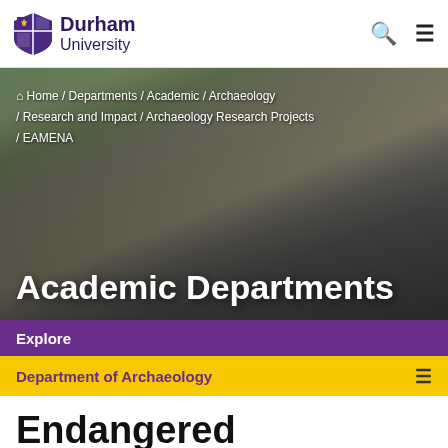Durham University — navigation header with logo, search icon, and menu icon
[Figure (photo): Campus photo showing students walking and sitting in an outdoor plaza with red-brick university buildings in the background. Overlaid with breadcrumb navigation and hero title.]
Home / Departments / Academic / Archaeology / Research and Impact / Archaeology Research Projects / EAMENA
Academic Departments
Explore
Department of Archaeology
Endangered Archaeology